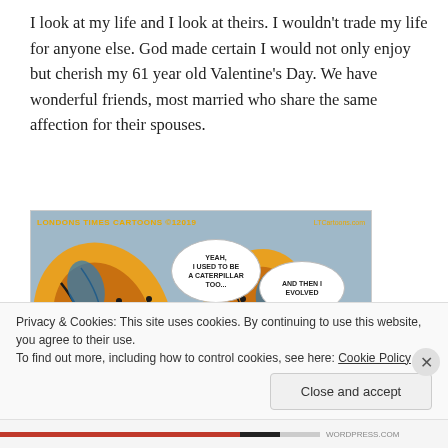I look at my life and I look at theirs. I wouldn't trade my life for anyone else. God made certain I would not only enjoy but cherish my 61 year old Valentine's Day. We have wonderful friends, most married who share the same affection for their spouses.
[Figure (illustration): London's Times Cartoons comic showing two butterflies. One says 'YEAH, I USED TO BE A CATERPILLAR TOO...' and the other says 'AND THEN I EVOLVED'. Header reads 'LONDONS TIMES CARTOONS ©12019' and 'LTCartoons.com'.]
Privacy & Cookies: This site uses cookies. By continuing to use this website, you agree to their use.
To find out more, including how to control cookies, see here: Cookie Policy
Close and accept